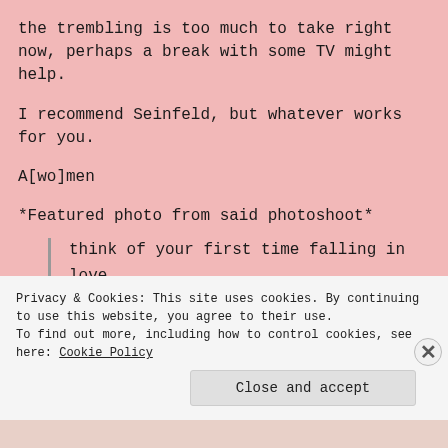the trembling is too much to take right now, perhaps a break with some TV might help.
I recommend Seinfeld, but whatever works for you.
A[wo]men
*Featured photo from said photoshoot*
think of your first time falling in love

hands trembling
Privacy & Cookies: This site uses cookies. By continuing to use this website, you agree to their use.
To find out more, including how to control cookies, see here: Cookie Policy
Close and accept